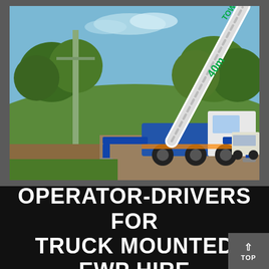[Figure (photo): A truck-mounted elevated work platform (EWP) with a white boom arm labeled '40m' and 'Tower Hire', mounted on a blue and white truck with outriggers deployed, parked on a gravel/dirt area with green grass hill and trees in the background under a blue sky. A utility pole is visible on the left side.]
OPERATOR-DRIVERS FOR TRUCK MOUNTED EWP HIRE